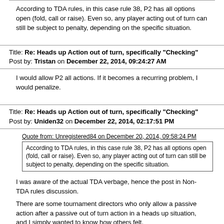According to TDA rules, in this case rule 38, P2 has all options open (fold, call or raise). Even so, any player acting out of turn can still be subject to penalty, depending on the specific situation.
Title: Re: Heads up Action out of turn, specifically "Checking"
Post by: Tristan on December 22, 2014, 09:24:27 AM
I would allow P2 all actions.  If it becomes a recurring problem, I would penalize.
Title: Re: Heads up Action out of turn, specifically "Checking"
Post by: Uniden32 on December 22, 2014, 02:17:51 PM
Quote from: Unregistered84 on December 20, 2014, 09:58:24 PM
According to TDA rules, in this case rule 38, P2 has all options open (fold, call or raise). Even so, any player acting out of turn can still be subject to penalty, depending on the specific situation.
I was aware of the actual TDA verbage, hence the post in Non-TDA rules discussion.
There are some tournament directors who only allow a passive action after a passive out of turn action in a heads up situation, and I simply wanted to know how others felt.
Thanks again.